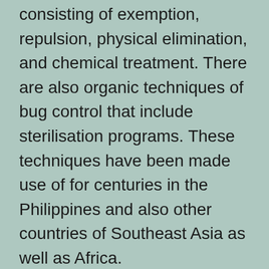consisting of exemption, repulsion, physical elimination, and chemical treatment. There are also organic techniques of bug control that include sterilisation programs. These techniques have been made use of for centuries in the Philippines and also other countries of Southeast Asia as well as Africa. Посетете уебсайта
Bugs that are not brought in to chemical pesticides ought to be lured by scents. Pheromone-baited catches are a reliable means to bring in parasites to specific areas. You should know which pests are in...